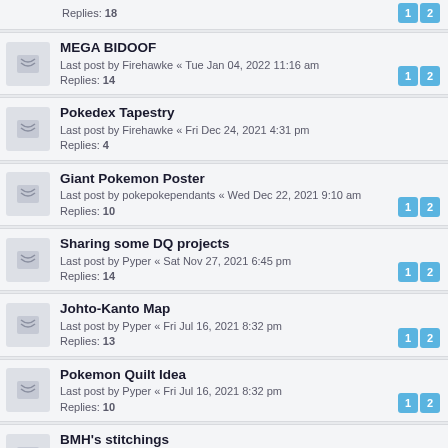Replies: 18 | pages: 1, 2
MEGA BIDOOF
Last post by Firehawke « Tue Jan 04, 2022 11:16 am
Replies: 14 | pages: 1, 2
Pokedex Tapestry
Last post by Firehawke « Fri Dec 24, 2021 4:31 pm
Replies: 4
Giant Pokemon Poster
Last post by pokepokependants « Wed Dec 22, 2021 9:10 am
Replies: 10 | pages: 1, 2
Sharing some DQ projects
Last post by Pyper « Sat Nov 27, 2021 6:45 pm
Replies: 14 | pages: 1, 2
Johto-Kanto Map
Last post by Pyper « Fri Jul 16, 2021 8:32 pm
Replies: 13 | pages: 1, 2
Pokemon Quilt Idea
Last post by Pyper « Fri Jul 16, 2021 8:32 pm
Replies: 10 | pages: 1, 2
BMH's stitchings
Last post by OttoGabriel « Fri Apr 09, 2021 6:38 am
Replies: 6
Metroid Zerio Misson End Screen
Last post by ovi.sergiu « Tue Feb 23, 2021 11:29 am
Replies: 11 | pages: 1, 2